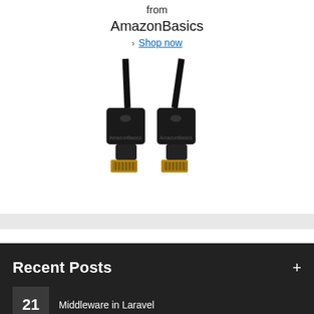from
AmazonBasics
› Shop now
[Figure (photo): Two black HDMI cable connectors from AmazonBasics, showing gold-plated ends]
Recent Posts
21  Middleware in Laravel